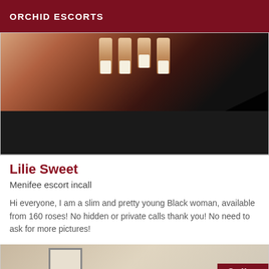ORCHID ESCORTS
[Figure (photo): Cropped photo showing hands with painted fingernails against a dark background, lower portion blacked out]
Lilie Sweet
Menifee escort incall
Hi everyone, I am a slim and pretty young Black woman, available from 160 roses! No hidden or private calls thank you! No need to ask for more pictures!
[Figure (photo): Partial photo of an interior room, with an Online badge in the bottom right corner]